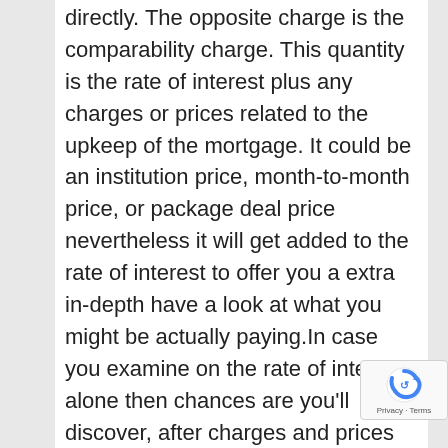directly. The opposite charge is the comparability charge. This quantity is the rate of interest plus any charges or prices related to the upkeep of the mortgage. It could be an institution price, month-to-month price, or package deal price nevertheless it will get added to the rate of interest to offer you a extra in-depth have a look at what you might be actually paying.In case you examine on the rate of interest alone then chances are you'll discover, after charges and prices are added that you're in actual fact paying greater than different loans with different lenders. To provide you an instance with what's supplied out there as of immediately. There's one lender providing 3.77% pa rate of interest and one other providing 4.52%, on the instance above that is a distinction of $3000.00 in a yr so most individuals